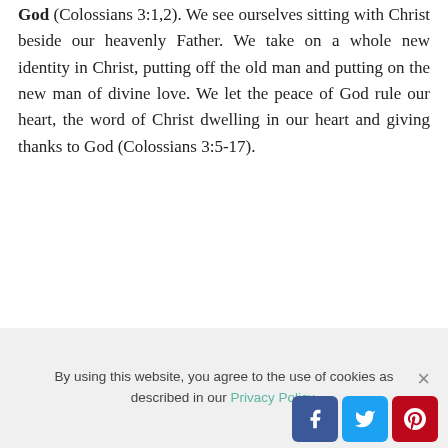God (Colossians 3:1,2). We see ourselves sitting with Christ beside our heavenly Father. We take on a whole new identity in Christ, putting off the old man and putting on the new man of divine love. We let the peace of God rule our heart, the word of Christ dwelling in our heart and giving thanks to God (Colossians 3:5-17).
1 The Headship and the Body, Pastor Bob Hoekstra. Living in Christ Ministries
PRINT
Mending the Body of Christ Behind Prison
By using this website, you agree to the use of cookies as described in our Privacy Policy.